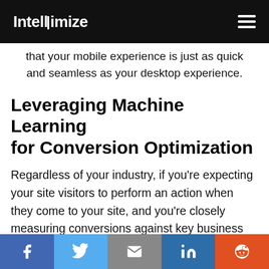Intellimize
that your mobile experience is just as quick and seamless as your desktop experience.
Leveraging Machine Learning for Conversion Optimization
Regardless of your industry, if you're expecting your site visitors to perform an action when they come to your site, and you're closely measuring conversions against key business objectives, then you must prioritize optimizing for conversions at every turn…and perhaps even
Social share bar: Facebook, Twitter, Email, LinkedIn, Reddit